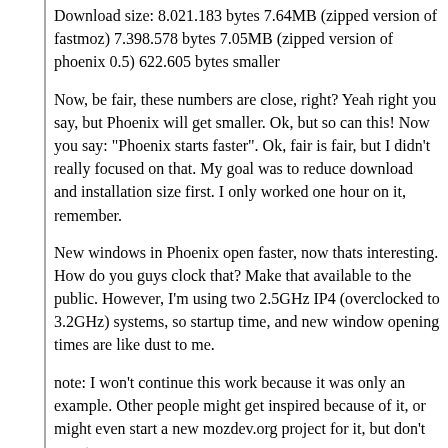Download size: 8.021.183 bytes 7.64MB (zipped version of fastmoz) 7.398.578 bytes 7.05MB (zipped version of phoenix 0.5) 622.605 bytes smaller
Now, be fair, these numbers are close, right? Yeah right you say, but Phoenix will get smaller. Ok, but so can this! Now you say: "Phoenix starts faster". Ok, fair is fair, but I didn't really focused on that. My goal was to reduce download and installation size first. I only worked one hour on it, remember.
New windows in Phoenix open faster, now thats interesting. How do you guys clock that? Make that available to the public. However, I'm using two 2.5GHz IP4 (overclocked to 3.2GHz) systems, so startup time, and new window opening times are like dust to me.
note: I won't continue this work because it was only an example. Other people might get inspired because of it, or might even start a new mozdev.org project for it, but don't count on me.